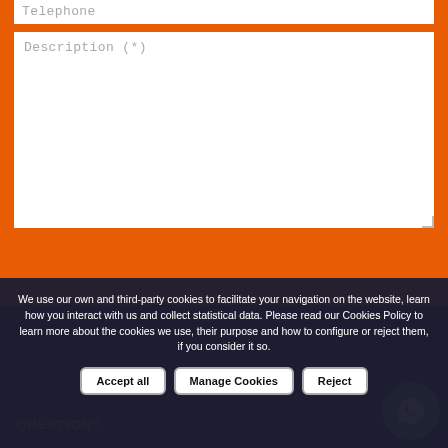Telephone
Description (*)
When you press the button "SEND" you confirm you've read, understood and accepted the conditions of our Privacy Policy shown in this LINK
Send
We use our own and third-party cookies to facilitate your navigation on the website, learn how you interact with us and collect statistical data. Please read our Cookies Policy to learn more about the cookies we use, their purpose and how to configure or reject them, if you consider it so.
Accept all
Manage Cookies
Reject
QUESTION?